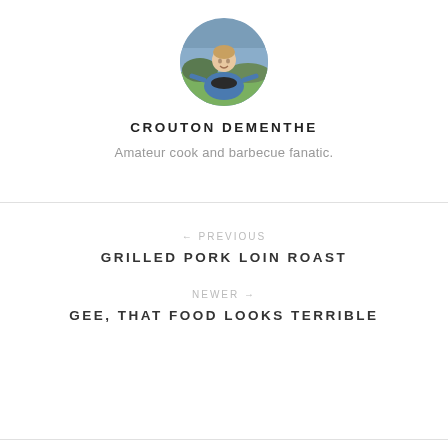[Figure (photo): Circular avatar photo of a man in a blue shirt standing near a barbecue grill outdoors]
CROUTON DEMENTHE
Amateur cook and barbecue fanatic.
← PREVIOUS
GRILLED PORK LOIN ROAST
NEWER →
GEE, THAT FOOD LOOKS TERRIBLE